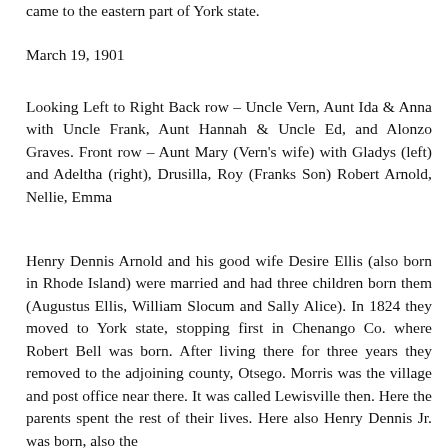came to the eastern part of York state.
March 19, 1901
Looking Left to Right Back row – Uncle Vern, Aunt Ida & Anna with Uncle Frank, Aunt Hannah & Uncle Ed, and Alonzo Graves. Front row – Aunt Mary (Vern's wife) with Gladys (left) and Adeltha (right), Drusilla, Roy (Franks Son) Robert Arnold, Nellie, Emma
Henry Dennis Arnold and his good wife Desire Ellis (also born in Rhode Island) were married and had three children born them (Augustus Ellis, William Slocum and Sally Alice). In 1824 they moved to York state, stopping first in Chenango Co. where Robert Bell was born. After living there for three years they removed to the adjoining county, Otsego. Morris was the village and post office near there. It was called Lewisville then. Here the parents spent the rest of their lives. Here also Henry Dennis Jr. was born, also the